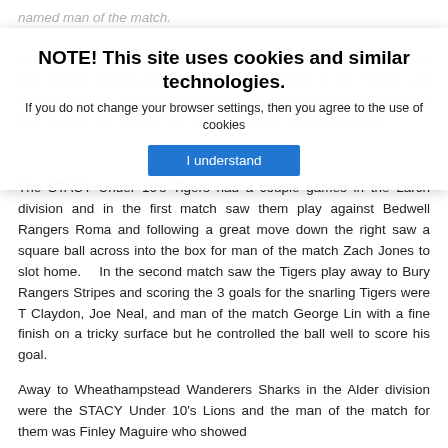named man of the match.
The STACY Under 9's Romans made a great return to football when they played Coalville Wolves in the Cedar division in the HBDFL and scoring goals for the Romans in this match were George Cullum with a fine hat-trick with singles from Jack Grantham and Dylan Jones.
NOTE! This site uses cookies and similar technologies.
If you do not change your browser settings, then you agree to the use of cookies
I understand
The STACY Under 10's Tigers had a couple games in the Larch division and in the first match saw them play against Bedwell Rangers Roma and following a great move down the right saw a square ball across into the box for man of the match Zach Jones to slot home.   In the second match saw the Tigers play away to Bury Rangers Stripes and scoring the 3 goals for the snarling Tigers were T Claydon, Joe Neal, and man of the match George Lin with a fine finish on a tricky surface but he controlled the ball well to score his goal.
Away to Wheathampstead Wanderers Sharks in the Alder division were the STACY Under 10's Lions and the man of the match for them was Finley Maguire who showed